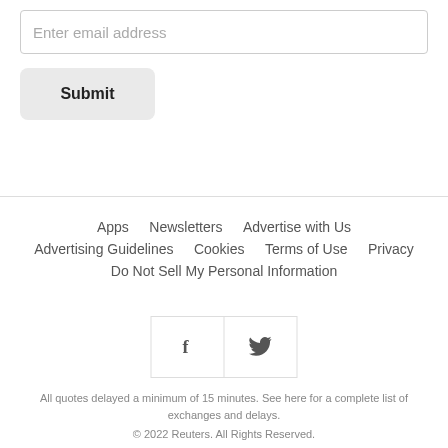Enter email address
Submit
Apps   Newsletters   Advertise with Us   Advertising Guidelines   Cookies   Terms of Use   Privacy   Do Not Sell My Personal Information
[Figure (other): Social media icons: Facebook (f) and Twitter (bird) in a bordered box]
All quotes delayed a minimum of 15 minutes. See here for a complete list of exchanges and delays.
© 2022 Reuters. All Rights Reserved.